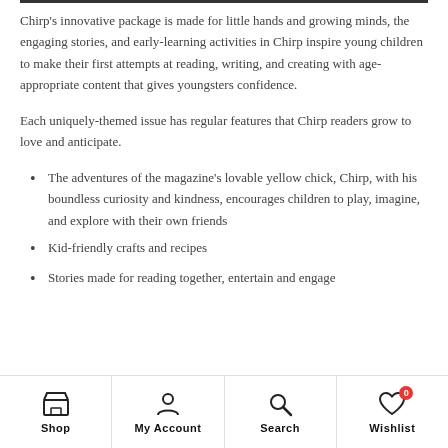Chirp's innovative package is made for little hands and growing minds, the engaging stories, and early-learning activities in Chirp inspire young children to make their first attempts at reading, writing, and creating with age-appropriate content that gives youngsters confidence.
Each uniquely-themed issue has regular features that Chirp readers grow to love and anticipate.
The adventures of the magazine's lovable yellow chick, Chirp, with his boundless curiosity and kindness, encourages children to play, imagine, and explore with their own friends
Kid-friendly crafts and recipes
Stories made for reading together, entertain and engage
Shop | My Account | Search | Wishlist